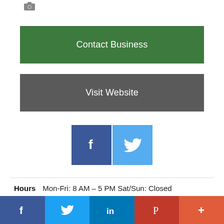[Figure (illustration): Small camera/photo icon in top left area]
Contact Business
Visit Website
[Figure (illustration): Facebook and Twitter social media icon buttons (blue squares with f and bird icons)]
Hours   Mon-Fri: 8 AM – 5 PM Sat/Sun: Closed
Category   Automotive Repairs
[Figure (infographic): Footer social sharing bar with Facebook, Twitter, LinkedIn, Pinterest, and More (+) buttons]